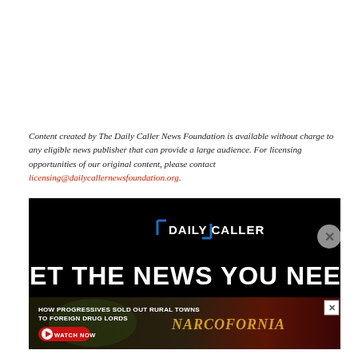Content created by The Daily Caller News Foundation is available without charge to any eligible news publisher that can provide a large audience. For licensing opportunities of our original content, please contact licensing@dailycallernewsfoundation.org.
[Figure (screenshot): Daily Caller newsletter signup advertisement banner on black background with logo and 'GET THE NEWS YOU NEED' headline]
[Figure (screenshot): Narcofornia advertisement banner: 'How Progressives Sold Out Rural Towns To Foreign Drug Lords' with Watch Now button and cannabis imagery]